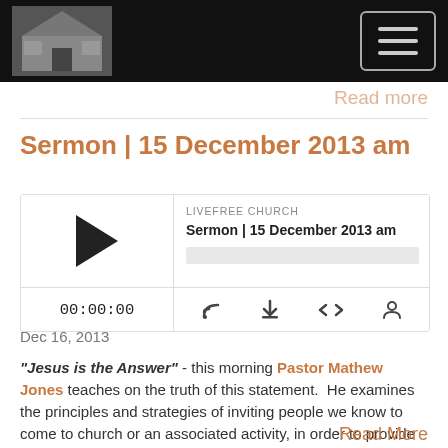LIVEFREE CHURCH — navigation header
Read more
Sermon | 15 December 2013 am
[Figure (other): Audio podcast player widget showing LIVEFREE CHURCH, Sermon | 15 December 2013 am, play button, progress bar, time 00:00:00, and control icons for RSS, download, embed, and speaker]
Dec 16, 2013
"Jesus is the Answer" - this morning Pastor Mathew Jones teaches on the truth of this statement.  He examines the principles and strategies of inviting people we know to come to church or an associated activity, in order to provide them with every opportunity to discover that "Jesus is the Answer". Pastor Mat also...
Read More